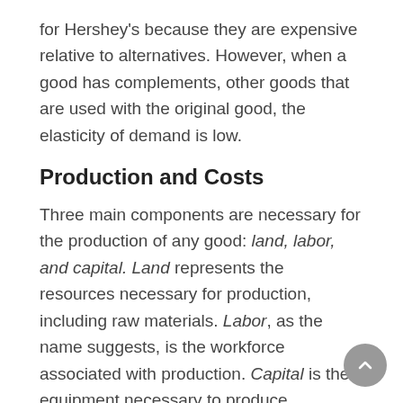for Hershey's because they are expensive relative to alternatives. However, when a good has complements, other goods that are used with the original good, the elasticity of demand is low.
Production and Costs
Three main components are necessary for the production of any good: land, labor, and capital. Land represents the resources necessary for production, including raw materials. Labor, as the name suggests, is the workforce associated with production. Capital is the equipment necessary to produce.